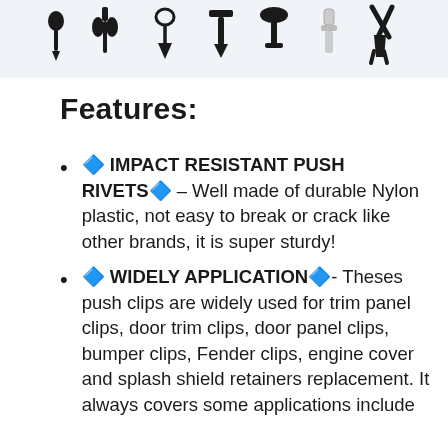[Figure (photo): Row of various automotive push rivet and clip fastener silhouettes against a light blue-grey background]
Features:
🔷 IMPACT RESISTANT PUSH RIVETS🔷 – Well made of durable Nylon plastic, not easy to break or crack like other brands, it is super sturdy!
🔷 WIDELY APPLICATION🔷- Theses push clips are widely used for trim panel clips, door trim clips, door panel clips, bumper clips, Fender clips, engine cover and splash shield retainers replacement. It always covers some applications include